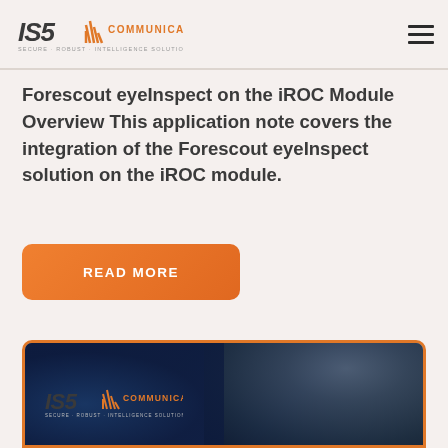[Figure (logo): IS5 Communications logo with orange signal icon and text]
Forescout eyeInspect on the iROC Module Overview This application note covers the integration of the Forescout eyeInspect solution on the iROC module.
[Figure (other): Orange rounded rectangle button with white bold uppercase text READ MORE]
[Figure (photo): IS5 Communications branded card with dark blue background, orange border, showing IS5 logo and a person working with network equipment]